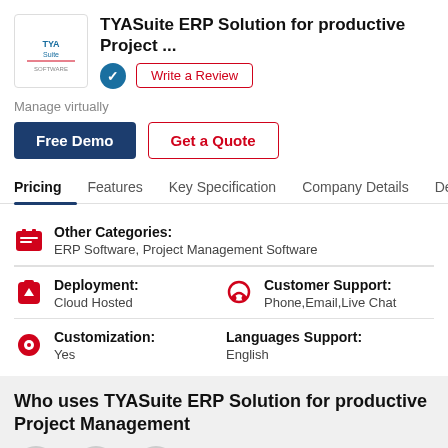TYASuite ERP Solution for productive Project ...
Write a Review
Manage virtually
Free Demo
Get a Quote
Pricing
Features
Key Specification
Company Details
Descrip
Other Categories:
ERP Software, Project Management Software
Deployment:
Cloud Hosted
Customer Support:
Phone,Email,Live Chat
Customization:
Yes
Languages Support:
English
Who uses TYASuite ERP Solution for productive Project Management